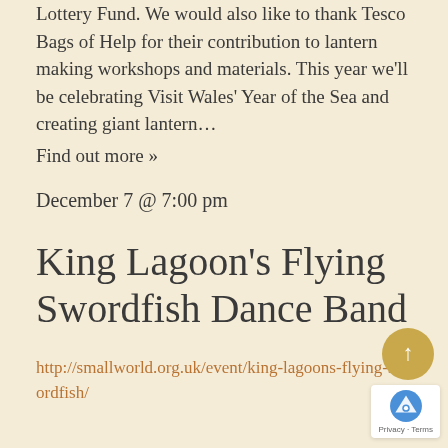Lottery Fund. We would also like to thank Tesco Bags of Help for their contribution to lantern making workshops and materials. This year we'll be celebrating Visit Wales' Year of the Sea and creating giant lantern…
Find out more »
December 7 @ 7:00 pm
King Lagoon's Flying Swordfish Dance Band
http://smallworld.org.uk/event/king-lagoons-flying-swordfish/